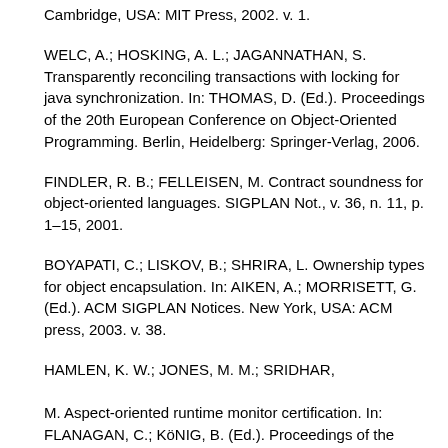Cambridge, USA: MIT Press, 2002. v. 1.
WELC, A.; HOSKING, A. L.; JAGANNATHAN, S. Transparently reconciling transactions with locking for java synchronization. In: THOMAS, D. (Ed.). Proceedings of the 20th European Conference on Object-Oriented Programming. Berlin, Heidelberg: Springer-Verlag, 2006.
FINDLER, R. B.; FELLEISEN, M. Contract soundness for object-oriented languages. SIGPLAN Not., v. 36, n. 11, p. 1–15, 2001.
BOYAPATI, C.; LISKOV, B.; SHRIRA, L. Ownership types for object encapsulation. In: AIKEN, A.; MORRISETT, G. (Ed.). ACM SIGPLAN Notices. New York, USA: ACM press, 2003. v. 38.
HAMLEN, K. W.; JONES, M. M.; SRIDHAR, M. Aspect-oriented runtime monitor certification. In: FLANAGAN, C.; KöNIG, B. (Ed.). Proceedings of the 18th International